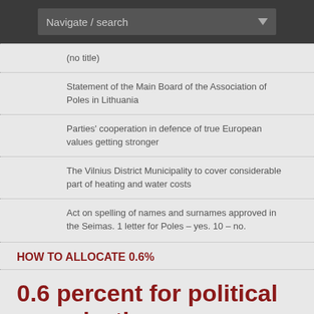Navigate / search
(no title)
Statement of the Main Board of the Association of Poles in Lithuania
Parties' cooperation in defence of true European values getting stronger
The Vilnius District Municipality to cover considerable part of heating and water costs
Act on spelling of names and surnames approved in the Seimas. 1 letter for Poles – yes. 10 – no.
HOW TO ALLOCATE 0.6%
0.6 percent for political organizations